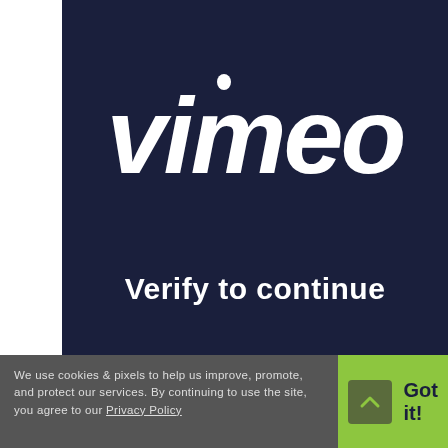[Figure (logo): Vimeo logo in white italic bold text on dark navy background]
Verify to continue
We use cookies & pixels to help us improve, promote, and protect our services. By continuing to use the site, you agree to our Privacy Policy
Got it!